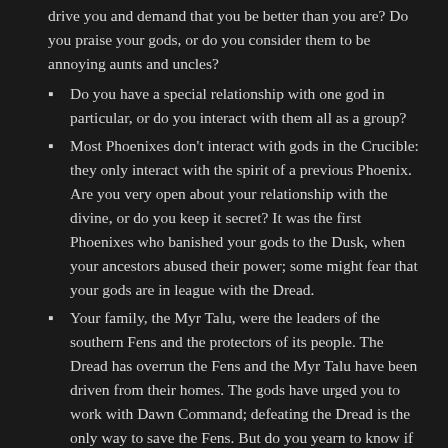drive you and demand that you be better than you are? Do you praise your gods, or do you consider them to be annoying aunts and uncles?
Do you have a special relationship with one god in particular, or do you interact with them all as a group?
Most Phoenixes don't interact with gods in the Crucible: they only interact with the spirit of a previous Phoenix. Are you very open about your relationship with the divine, or do you keep it secret? It was the first Phoenixes who banished your gods to the Dusk, when your ancestors abused their power; some might fear that your gods are in league with the Dread.
Your family, the Myr Talu, were the leaders of the southern Fens and the protectors of its people. The Dread has overrun the Fens and the Myr Talu have been driven from their homes. The gods have urged you to work with Dawn Command; defeating the Dread is the only way to save the Fens. But do you yearn to know if your family has survived? Do you